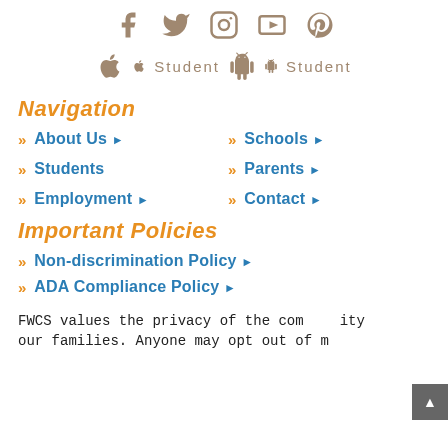[Figure (other): Social media icons row: Facebook, Twitter, Instagram, YouTube, Pinterest in taupe/brown color]
[Figure (other): App download row with Apple and Android icons with 'Student' labels in taupe/brown]
Navigation
About Us
Schools
Students
Parents
Employment
Contact
Important Policies
Non-discrimination Policy
ADA Compliance Policy
FWCS values the privacy of the community our families. Anyone may opt out of m